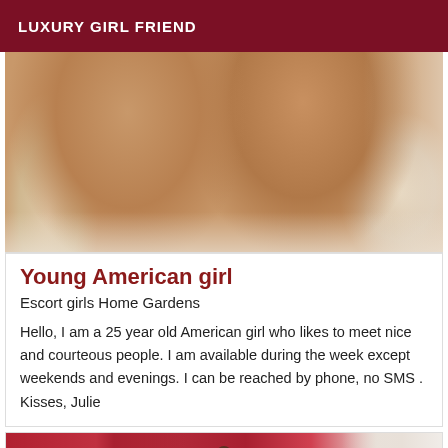LUXURY GIRL FRIEND
[Figure (photo): Close-up photo showing someone wearing white lace lingerie underwear]
Young American girl
Escort girls Home Gardens
Hello, I am a 25 year old American girl who likes to meet nice and courteous people. I am available during the week except weekends and evenings. I can be reached by phone, no SMS . Kisses, Julie
[Figure (photo): Photo of a young woman standing in front of red curtains, with papers visible on the right side wall]